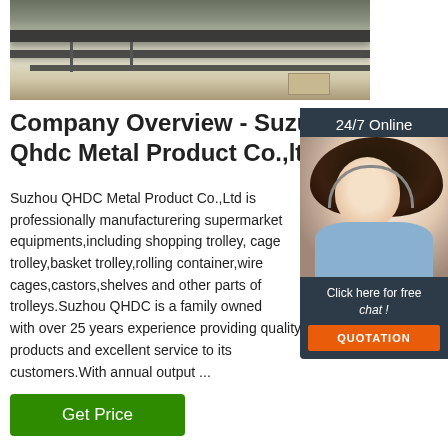[Figure (photo): Industrial machinery photo showing metal rails or conveyor equipment with sunlight]
Company Overview - Suzhou Qhdc Metal Product Co.,ltd
Suzhou QHDC Metal Product Co.,Ltd is professionally manufacturering supermarket equipments,including shopping trolley, cage trolley,basket trolley,rolling container,wire cages,castors,shelves and other parts of trolleys.Suzhou QHDC is a family owned with over 25 years experience providing quality products and excellent service to its customers.With annual output ...
[Figure (photo): 24/7 Online chat widget with a woman wearing a headset, and a QUOTATION button]
Get Price